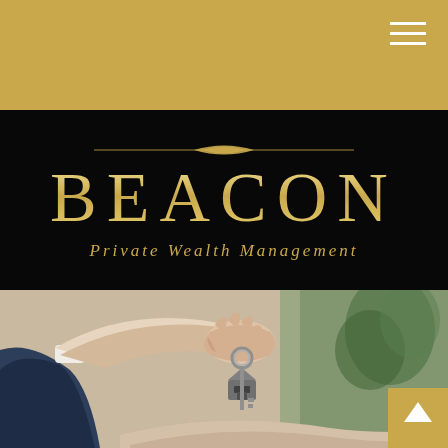[Figure (logo): Beacon Private Wealth Management logo on black background with gold diamond ornament above the BEACON text]
[Figure (photo): A hand in a suit jacket holding keys with a house-shaped keychain over another open hand, with blurred green plant in background. Real estate and wealth management themed photograph.]